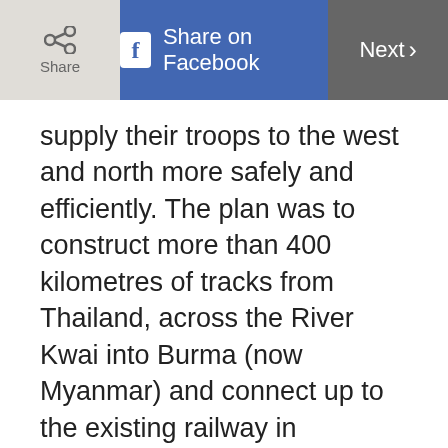Share | Share on Facebook | Next >
supply their troops to the west and north more safely and efficiently. The plan was to construct more than 400 kilometres of tracks from Thailand, across the River Kwai into Burma (now Myanmar) and connect up to the existing railway in Northern Burma.
Many thousands of POWs as well as local villagers...
Do you want our Top stories of the day delivered to your inbox?
YES PLEASE!
NO THANKS